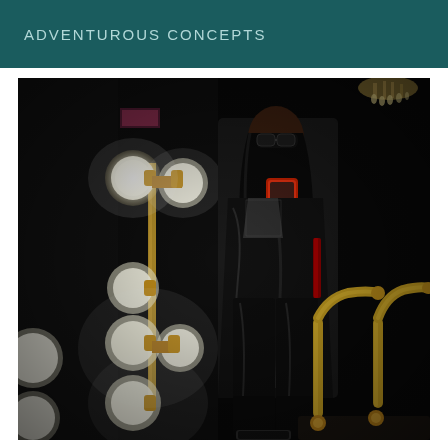ADVENTUROUS CONCEPTS
[Figure (photo): A person wearing a black patent leather outfit with sunglasses taking a mirror selfie with a red phone case in a dimly lit room with Hollywood-style vanity bulb lights on the left side and gold faucets visible in the lower right corner.]